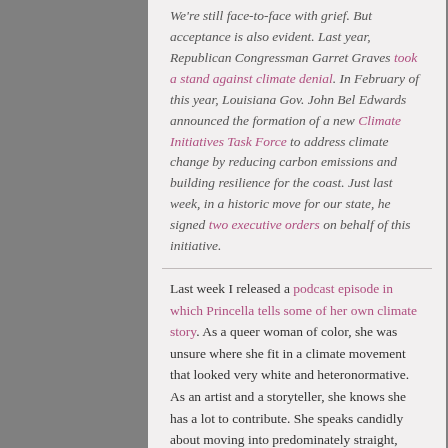We're still face-to-face with grief. But acceptance is also evident. Last year, Republican Congressman Garret Graves took a stand against climate denial. In February of this year, Louisiana Gov. John Bel Edwards announced the formation of a new Climate Initiatives Task Force to address climate change by reducing carbon emissions and building resilience for the coast. Just last week, in a historic move for our state, he signed two executive orders on behalf of this initiative.
Last week I released a podcast episode in which Princella tells some of her own climate story. As a queer woman of color, she was unsure where she fit in a climate movement that looked very white and heteronormative. As an artist and a storyteller, she knows she has a lot to contribute. She speaks candidly about moving into predominately straight,